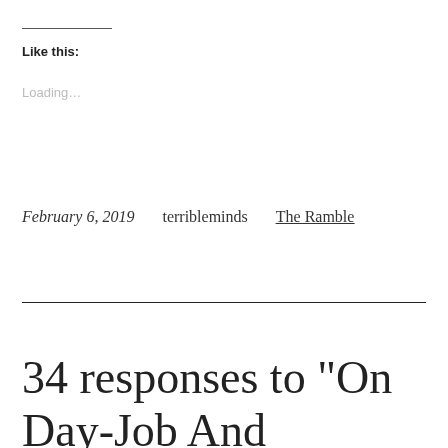Like this:
Loading…
February 6, 2019   terribleminds   The Ramble
34 responses to “On Day-Job And Str…”